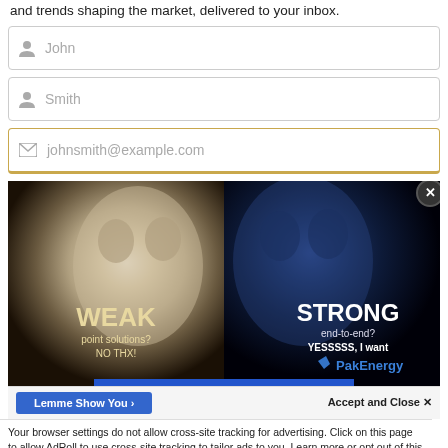and trends shaping the market, delivered to your inbox.
[Figure (screenshot): Web form with three input fields: First name (John), Last name (Smith), Email (johnsmith@example.com). The email field has a gold/amber active border.]
[Figure (photo): Advertisement banner showing split image of white wolf on left and dark blue wolf on right. Left side text: WEAK point solutions? NO THX! Right side text: STRONG end-to-end? YESSSSS, I want PakEnergy logo.]
Lemme Show You ›
Accept and Close ✕
Your browser settings do not allow cross-site tracking for advertising. Click on this page to allow AdRoll to use cross-site tracking to tailor ads to you. Learn more or opt out of this AdRoll tracking by clicking here. This message only appears once.